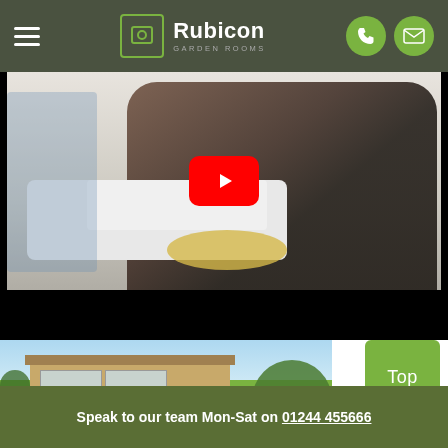Rubicon Garden Rooms – site header with hamburger menu, logo, phone and email icons
[Figure (screenshot): YouTube video embed showing a woman using a sewing machine in a workshop, with a red YouTube play button overlay in the center]
[Figure (photo): Partial photo of a garden room / timber-clad flat-roof outbuilding surrounded by trees and blue sky]
Top
Speak to our team Mon-Sat on 01244 455666